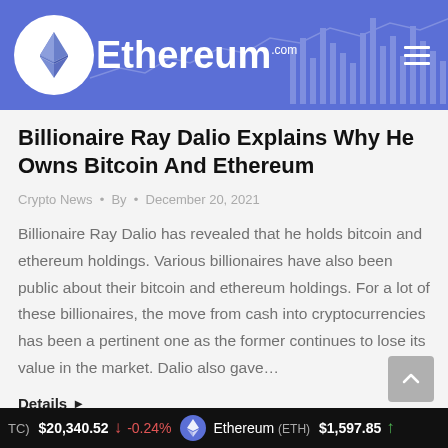Ethereum.com
Billionaire Ray Dalio Explains Why He Owns Bitcoin And Ethereum
Crypto News • By • December 20, 2021
Billionaire Ray Dalio has revealed that he holds bitcoin and ethereum holdings. Various billionaires have also been public about their bitcoin and ethereum holdings. For a lot of these billionaires, the move from cash into cryptocurrencies has been a pertinent one as the former continues to lose its value in the market. Dalio also gave…
Details ▶
BTC) $20,340.52 ↓ -0.24% Ethereum (ETH) $1,597.85 ↑